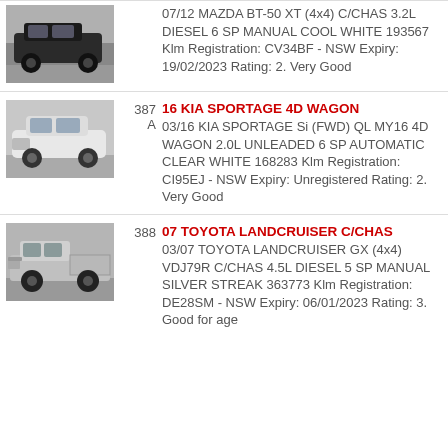07/12 MAZDA BT-50 XT (4x4) C/CHAS 3.2L DIESEL 6 SP MANUAL COOL WHITE 193567 Klm Registration: CV34BF - NSW Expiry: 19/02/2023 Rating: 2. Very Good
387 A 16 KIA SPORTAGE 4D WAGON 03/16 KIA SPORTAGE Si (FWD) QL MY16 4D WAGON 2.0L UNLEADED 6 SP AUTOMATIC CLEAR WHITE 168283 Klm Registration: CI95EJ - NSW Expiry: Unregistered Rating: 2. Very Good
388 07 TOYOTA LANDCRUISER C/CHAS 03/07 TOYOTA LANDCRUISER GX (4x4) VDJ79R C/CHAS 4.5L DIESEL 5 SP MANUAL SILVER STREAK 363773 Klm Registration: DE28SM - NSW Expiry: 06/01/2023 Rating: 3. Good for age